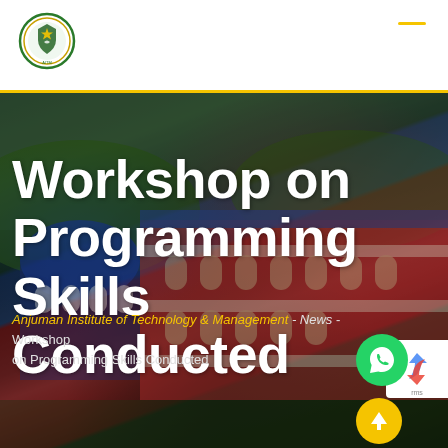[Figure (logo): Anjuman Institute of Technology & Management circular logo/emblem in green and gold]
Workshop on Programming Skills Conducted
[Figure (photo): Aerial/overhead photo of Anjuman Institute campus showing a red and white multi-storey academic building with a blue dome structure on the left, surrounded by greenery]
Anjuman Institute of Technology & Management - News - Workshop on Programming Skills Conducted
[Figure (logo): WhatsApp chat button - green circle with phone handset icon]
[Figure (logo): Scroll to top button - yellow/gold circle with upward arrow]
[Figure (logo): reCAPTCHA logo partial view]